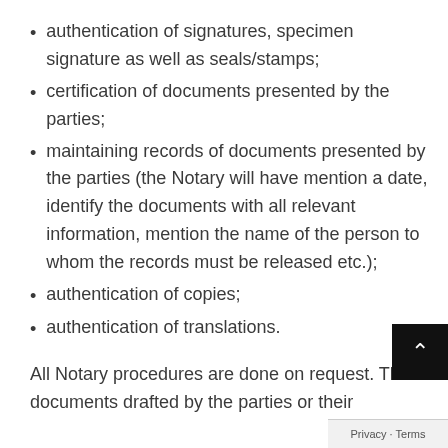authentication of signatures, specimen signature as well as seals/stamps;
certification of documents presented by the parties;
maintaining records of documents presented by the parties (the Notary will have mention a date, identify the documents with all relevant information, mention the name of the person to whom the records must be released etc.);
authentication of copies;
authentication of translations.
All Notary procedures are done on request. Th… documents drafted by the parties or their